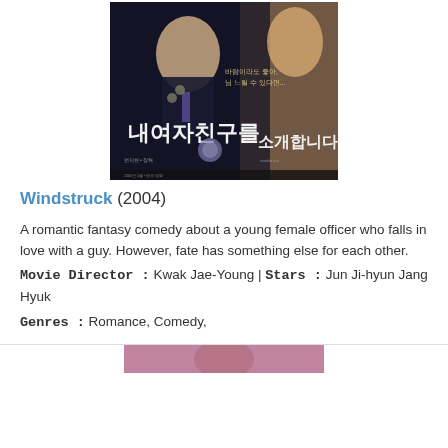[Figure (photo): Korean movie poster for Windstruck (2004) showing a young woman in police uniform with Korean text]
Windstruck (2004)
A romantic fantasy comedy about a young female officer who falls in love with a guy. However, fate has something else for each other.
Movie Director : Kwak Jae-Young | Stars : Jun Ji-hyun Jang Hyuk
Genres : Romance, Comedy,
[Figure (photo): Partial view of another movie poster at the bottom of the page]